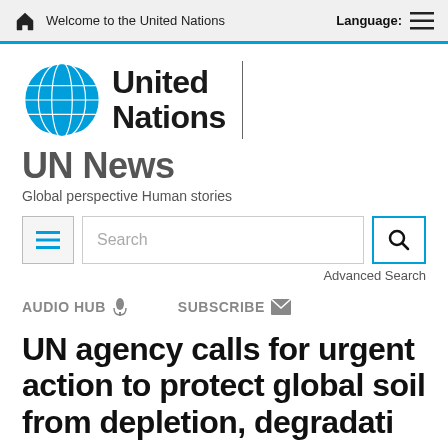Welcome to the United Nations   Language:
[Figure (logo): United Nations globe logo with 'United Nations' text and vertical divider]
UN News
Global perspective Human stories
Search  Advanced Search
AUDIO HUB  SUBSCRIBE
UN agency calls for urgent action to protect global soil from depletion, degradation